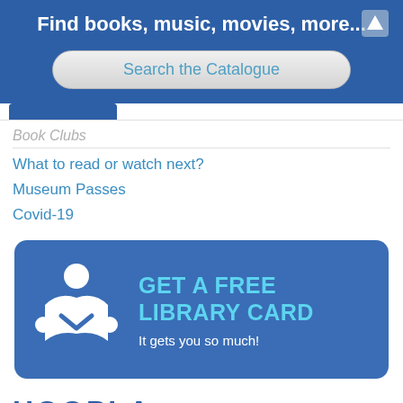Find books, music, movies, more...
Search the Catalogue
Book Clubs
What to read or watch next?
Museum Passes
Covid-19
[Figure (infographic): Blue banner with a white reading person icon and text: GET A FREE LIBRARY CARD - It gets you so much!]
HOOPLA